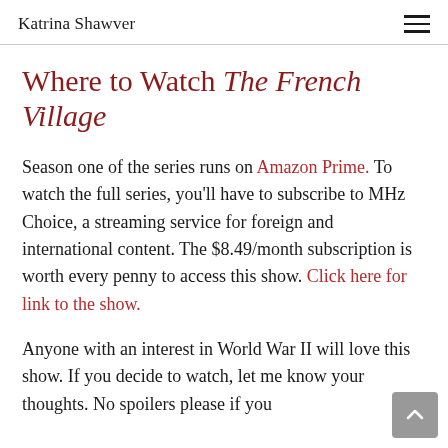Katrina Shawver
Where to Watch The French Village
Season one of the series runs on Amazon Prime. To watch the full series, you'll have to subscribe to MHz Choice, a streaming service for foreign and international content. The $8.49/month subscription is worth every penny to access this show. Click here for link to the show.
Anyone with an interest in World War II will love this show. If you decide to watch, let me know your thoughts. No spoilers please if you